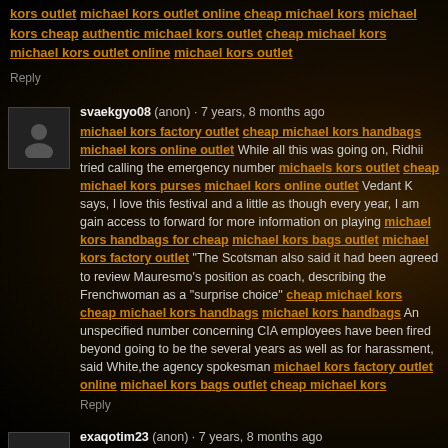kors outlet michael kors outlet online cheap michael kors michael kors cheap authentic michael kors outlet cheap michael kors michael kors outlet online michael kors outlet
Reply
svaekgyo08 (anon) · 7 years, 8 months ago
michael kors factory outlet cheap michael kors handbags michael kors online outlet While all this was going on, Ridhii tried calling the emergency number michaels kors outlet cheap michael kors purses michael kors online outlet Vedant K says, I love this festival and a little as though every year, I am gain access to forward for more information on playing michael kors handbags for cheap michael kors bags outlet michael kors factory outlet "The Scotsman also said it had been agreed to review Mauresmo's position as coach, describing the Frenchwoman as a "surprise choice" cheap michael kors cheap michael kors handbags michael kors handbags An unspecified number concerning CIA employees have been fired beyond going to be the several years as well as for harassment, said White,the agency spokesman michael kors factory outlet online michael kors bags outlet cheap michael kors
Reply
exaqotim23 (anon) · 7 years, 8 months ago
michael kors outlet store michael kors outlet online cheap michael kors bags michael kors purses for cheap michael kors outlet cheap michael kors cheap michael kors michael kors handbags outlet cheap michael kors outlet michael kors